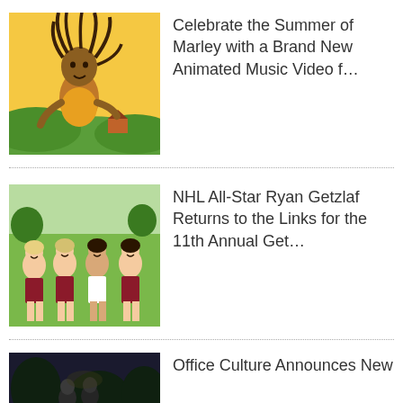[Figure (illustration): Animated illustration of a reggae musician with dreadlocks, wearing a yellow shirt, in a tropical setting with green and orange background.]
Celebrate the Summer of Marley with a Brand New Animated Music Video f…
[Figure (photo): Photo of four young women in plaid outfits standing on a golf course.]
NHL All-Star Ryan Getzlaf Returns to the Links for the 11th Annual Get…
[Figure (photo): Dark photo showing people outdoors at night or in low light.]
Office Culture Announces New